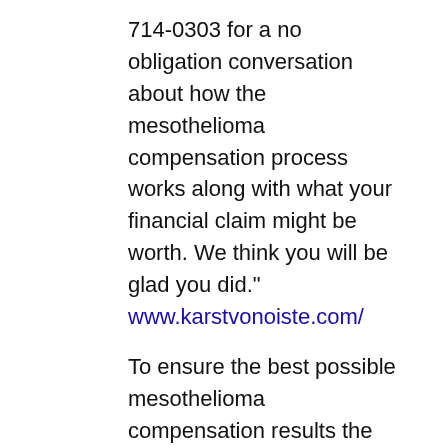714-0303 for a no obligation conversation about how the mesothelioma compensation process works along with what your financial claim might be worth. We think you will be glad you did." www.karstvonoiste.com/
To ensure the best possible mesothelioma compensation results the Mesothelioma Compensation Center is appealing to a person with mesothelioma in any state with the assistance of their family to make a list of where, when, and how they were exposed to asbestos at work or in the navy. It is this incredibly important information that becomes the foundation of a mesothelioma compensation claim as attorney Erik Karst of Karst von Oiste is always happy to discuss at 800-714-0303. www.karstvonoiste.com/
The Mesothelioma Compensation Center specializes